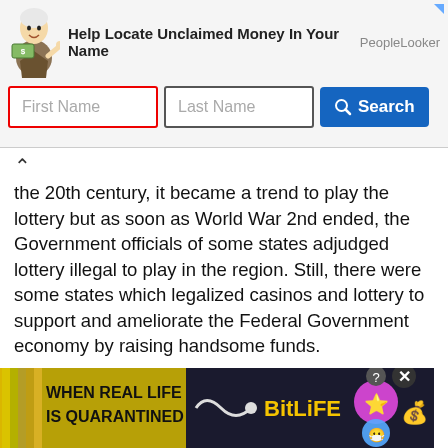[Figure (screenshot): Advertisement banner: 'Help Locate Unclaimed Money In Your Name' with PeopleLooker branding, First Name and Last Name input fields, and a blue Search button. A cartoon mascot figure is on the left.]
the 20th century, it became a trend to play the lottery but as soon as World War 2nd ended, the Government officials of some states adjudged lottery illegal to play in the region. Still, there were some states which legalized casinos and lottery to support and ameliorate the Federal Government economy by raising handsome funds.
World's first official lottery was launched during the medieval era, near the 16th century, in the Netherlands, England, Germany, France, and Italy. France was the first state into step into the gambling world by promoting lottery playing. Like before, in the present... super... cting the local political parties.
[Figure (screenshot): BitLife advertisement banner at the bottom reading 'WHEN REAL LIFE IS QUARANTINED' with colorful graphics and emoji characters. Has a close button (X circle) in the upper right.]